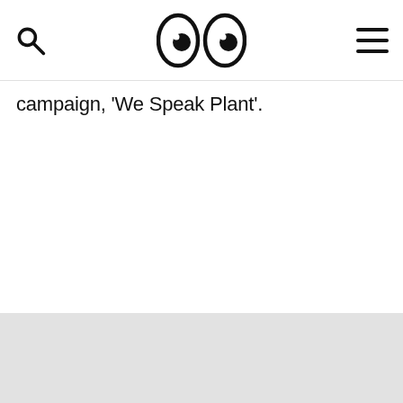[search icon] [logo: two eyes] [hamburger menu]
campaign, 'We Speak Plant'.
[Figure (other): Gray footer/background area at the bottom of the page]